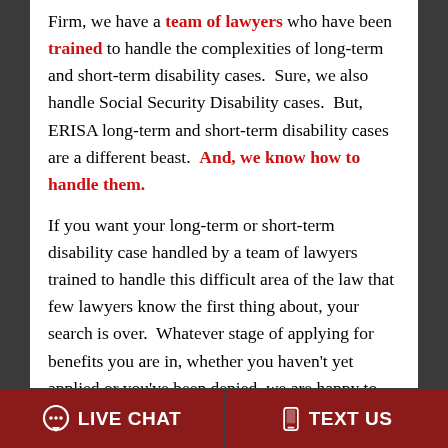Firm, we have a team of lawyers who have been trained to handle the complexities of long-term and short-term disability cases.  Sure, we also handle Social Security Disability cases.  But, ERISA long-term and short-term disability cases are a different beast.  And, we know how to handle them.
If you want your long-term or short-term disability case handled by a team of lawyers trained to handle this difficult area of the law that few lawyers know the first thing about, your search is over.  Whatever stage of applying for benefits you are in, whether you haven't yet applied or you've been denied, we are happy to help.  We can even help if you live in states other than Virginia or West Virginia by associating
LIVE CHAT | TEXT US